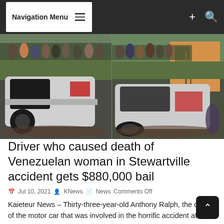Navigation Menu
[Figure (photo): Two side-by-side photos of a crashed white motor car in a roadside ditch with a crowd of onlookers gathered nearby]
Driver who caused death of Venezuelan woman in Stewartville accident gets $880,000 bail
Jul 10, 2021   KNews   News   Comments Off
Kaieteur News – Thirty-three-year-old Anthony Ralph, the driver of the motor car that was involved in the horrific accident at Stewartville, West Coast Demerara (WCD), last month, which claimed...